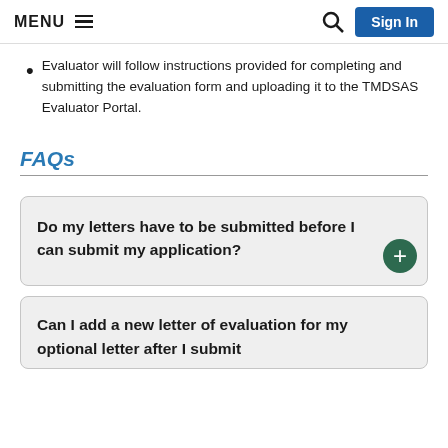MENU  [search icon]  Sign In
Evaluator will follow instructions provided for completing and submitting the evaluation form and uploading it to the TMDSAS Evaluator Portal.
FAQs
Do my letters have to be submitted before I can submit my application?
Can I add a new letter of evaluation for my optional letter after I submit